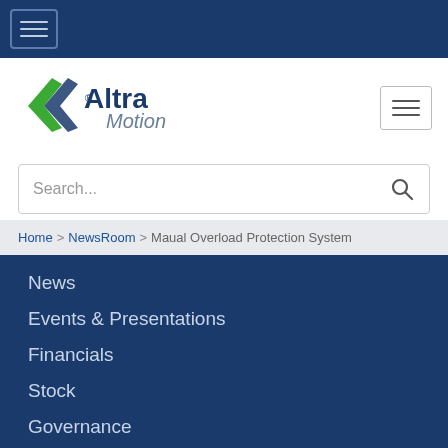[Figure (screenshot): Top dark blue navigation bar with hamburger menu icon in bordered box]
[Figure (logo): Altra Motion logo — green arrow icon with 'Altra' in bold dark blue and 'Motion' in gray italic]
[Figure (screenshot): Search bar with placeholder text 'Search...' and magnifying glass icon]
Home > NewsRoom > Maual Overload Protection System
News
Events & Presentations
Financials
Stock
Governance
Corporate Responsibility
Resources